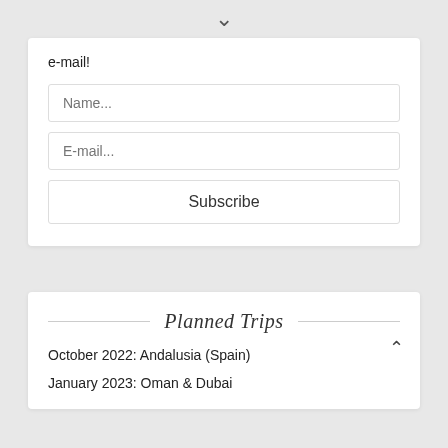∨
e-mail!
Name...
E-mail...
Subscribe
Planned Trips
October 2022: Andalusia (Spain)
January 2023: Oman & Dubai